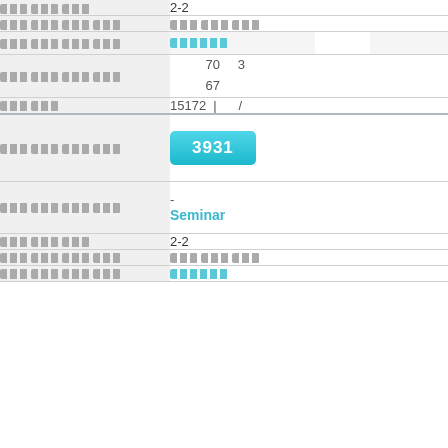| Label | Value |
| --- | --- |
| [redacted] | 2-2 |
| [redacted] | [redacted] |
| [redacted] | [redacted link] |
| [redacted] | 70  3
67 |
| [redacted] | 15172 |   / |
| [redacted] | 3931 |
| [redacted] | -
Seminar |
| [redacted] | 2-2 |
| [redacted] | [redacted] |
| [redacted] | [redacted link] |